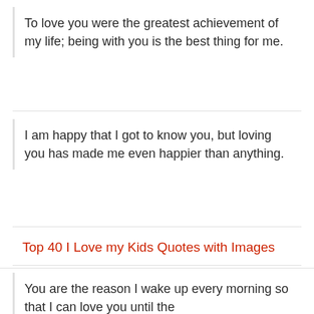To love you were the greatest achievement of my life; being with you is the best thing for me.
I am happy that I got to know you, but loving you has made me even happier than anything.
Top 40 I Love my Kids Quotes with Images
You exist, and just for that alone, I can love you with all that I have in this body of mine, love.
You are the reason I wake up every morning so that I can love you until the